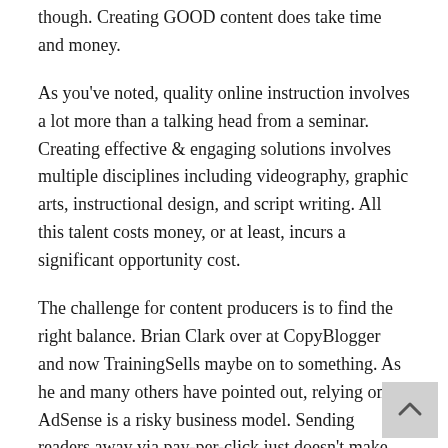though. Creating GOOD content does take time and money.
As you've noted, quality online instruction involves a lot more than a talking head from a seminar. Creating effective & engaging solutions involves multiple disciplines including videography, graphic arts, instructional design, and script writing. All this talent costs money, or at least, incurs a significant opportunity cost.
The challenge for content producers is to find the right balance. Brian Clark over at CopyBlogger and now TrainingSells maybe on to something. As he and many others have pointed out, relying on AdSense is a risky business model. Sending readers away via pay-per-click just doesn't make sense.
So where does that leave us? I know you said you can't